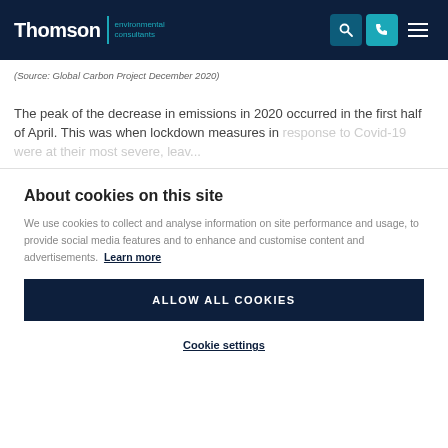Thomson | environmental consultants
(Source: Global Carbon Project December 2020)
The peak of the decrease in emissions in 2020 occurred in the first half of April. This was when lockdown measures in response to Covid-19 were at their most severe, leaving...
About cookies on this site
We use cookies to collect and analyse information on site performance and usage, to provide social media features and to enhance and customise content and advertisements. Learn more
ALLOW ALL COOKIES
Cookie settings